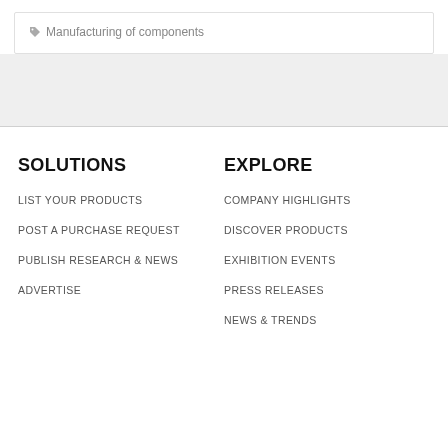Manufacturing of components
SOLUTIONS
LIST YOUR PRODUCTS
POST A PURCHASE REQUEST
PUBLISH RESEARCH & NEWS
ADVERTISE
EXPLORE
COMPANY HIGHLIGHTS
DISCOVER PRODUCTS
EXHIBITION EVENTS
PRESS RELEASES
NEWS & TRENDS